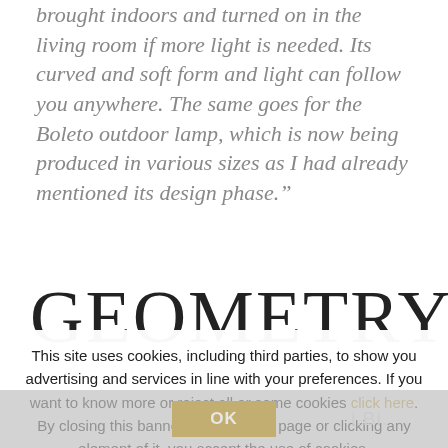brought indoors and turned on in the living room if more light is needed. Its curved and soft form and light can follow you anywhere. The same goes for the Boleto outdoor lamp, which is now being produced in various sizes as I had already mentioned its design phase.”
[Figure (other): Navigation arrows (left and right chevrons) in gold/yellow color for a carousel]
GEOMETRY
“Geometry has inspired many lamps as well [for to bring ahead or until teams are...]
This site uses cookies, including third parties, to show you advertising and services in line with your preferences. If you want to know more or reject all or some cookies click here. By closing this banner, scrolling this page or clicking any element of it, you accept the use of cookies.
OK